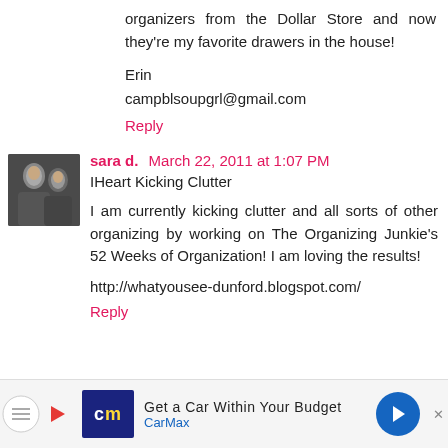organizers from the Dollar Store and now they're my favorite drawers in the house!
Erin
campblsoupgrl@gmail.com
Reply
sara d.  March 22, 2011 at 1:07 PM
IHeart Kicking Clutter
I am currently kicking clutter and all sorts of other organizing by working on The Organizing Junkie's 52 Weeks of Organization! I am loving the results!
http://whatyousee-dunford.blogspot.com/
Reply
[Figure (infographic): Advertisement banner: CarMax - Get a Car Within Your Budget]